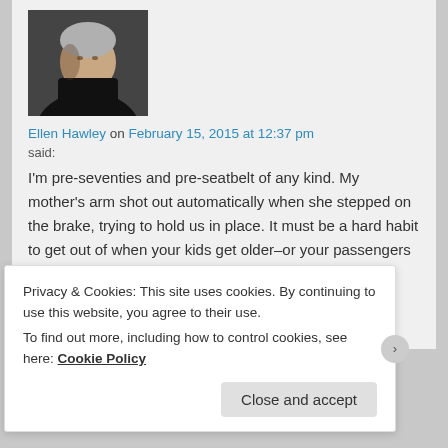[Figure (photo): Avatar photo of Ellen Hawley — person with grey/white hair wearing a dark turtleneck, photographed from slightly above]
Ellen Hawley on February 15, 2015 at 12:37 pm
said:
I'm pre-seventies and pre-seatbelt of any kind. My mother's arm shot out automatically when she stepped on the brake, trying to hold us in place. It must be a hard habit to get out of when your kids get older–or your passengers are adults.
★ Liked by 1 person
Log in to Reply
Privacy & Cookies: This site uses cookies. By continuing to use this website, you agree to their use.
To find out more, including how to control cookies, see here: Cookie Policy